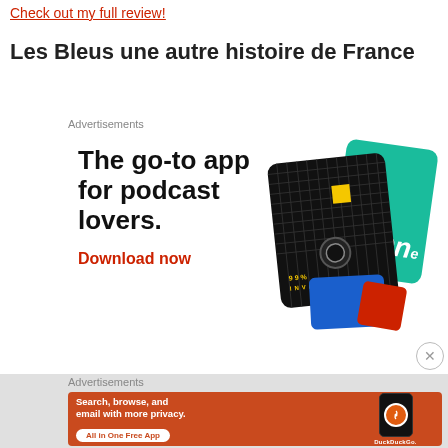Check out my full review!
Les Bleus une autre histoire de France
Advertisements
[Figure (infographic): Advertisement for a podcast app showing bold text 'The go-to app for podcast lovers.' with a red 'Download now' CTA and podcast app card visuals including a 99% Invisible card]
Advertisements
[Figure (infographic): DuckDuckGo advertisement on orange/red background: 'Search, browse, and email with more privacy. All in One Free App' with DuckDuckGo logo and phone mockup]